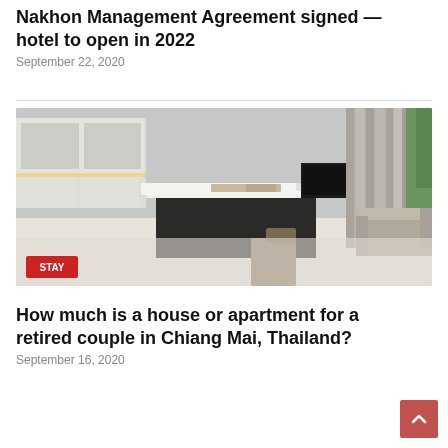Centra by Centara Hotel Bangkok Phra Nakhon Management Agreement signed — hotel to open in 2022
September 22, 2020
[Figure (photo): Interior photo of a modern apartment or hotel room showing a kitchen island with table runner, overhead metallic pendant lights, a TV unit, floor-to-ceiling curtains, sliding glass door to outdoors, and a beige sofa. A red 'STAY' badge is overlaid at the bottom left.]
How much is a house or apartment for a retired couple in Chiang Mai, Thailand?
September 16, 2020